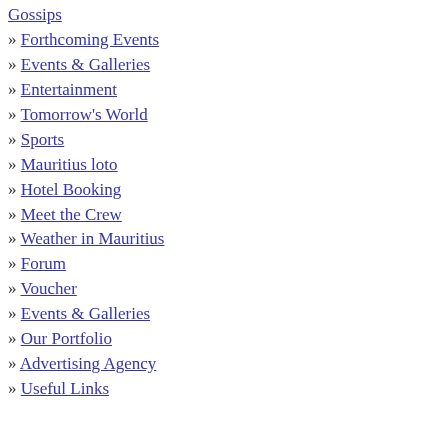Gossips
» Forthcoming Events
» Events & Galleries
» Entertainment
» Tomorrow's World
» Sports
» Mauritius loto
» Hotel Booking
» Meet the Crew
» Weather in Mauritius
» Forum
» Voucher
» Events & Galleries
» Our Portfolio
» Advertising Agency
» Useful Links